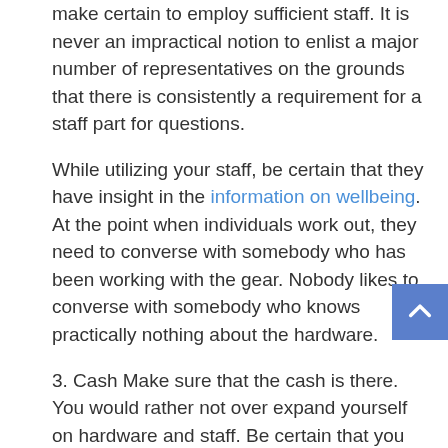2. Staff In the wellbeing wellness business it is great to make certain to employ sufficient staff. It is never an impractical notion to enlist a major number of representatives on the grounds that there is consistently a requirement for a staff part for questions.
While utilizing your staff, be certain that they have insight in the information on wellbeing. At the point when individuals work out, they need to converse with somebody who has been working with the gear. Nobody likes to converse with somebody who knows practically nothing about the hardware.
3. Cash Make sure that the cash is there. You would rather not over expand yourself on hardware and staff. Be certain that you have the perfect proportion of cash to see what you need to have occur in your wellbeing focus.
At the point when the cash is there, there is no pressure that you need to stress over. In a wellness community it